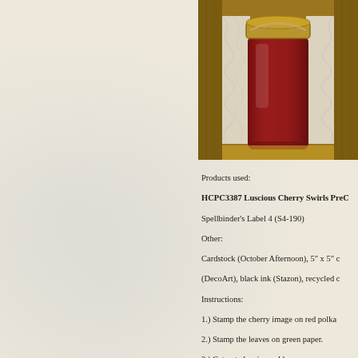[Figure (photo): A mason jar filled with deep red cherry preserves/jam, displayed in a rustic wooden crate with white lace/shredded paper packing material. The jar has a gold metal lid with twine wrapped around it.]
Products used:
HCPC3387 Luscious Cherry Swirls PreC
Spellbinder's Label 4 (S4-190)
Other:
Cardstock (October Afternoon), 5" x 5" c
(DecoArt), black ink (Stazon), recycled c
Instructions:
1.) Stamp the cherry image on red polka
2.) Stamp the leaves on green paper.
3.) Cut out cherries and leaves.
4.)